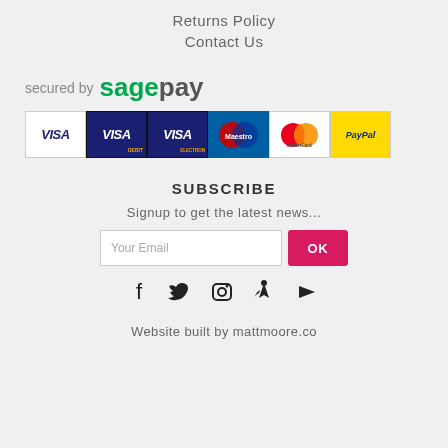Returns Policy
Contact Us
[Figure (logo): Secured by SagePay logo with payment card icons: Visa, Visa Debit, Visa Electron, Maestro, MasterCard, PayPal]
SUBSCRIBE
Signup to get the latest news...
Your Email | OK
[Figure (infographic): Social media icons: Facebook, Twitter, Instagram, Pinterest, YouTube]
Website built by mattmoore.co